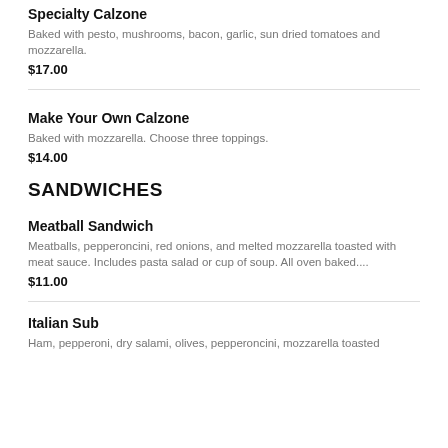Specialty Calzone
Baked with pesto, mushrooms, bacon, garlic, sun dried tomatoes and mozzarella.
$17.00
Make Your Own Calzone
Baked with mozzarella. Choose three toppings.
$14.00
SANDWICHES
Meatball Sandwich
Meatballs, pepperoncini, red onions, and melted mozzarella toasted with meat sauce. Includes pasta salad or cup of soup. All oven baked....
$11.00
Italian Sub
Ham, pepperoni, dry salami, olives, pepperoncini, mozzarella toasted